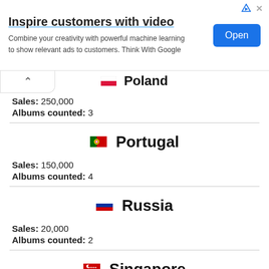[Figure (infographic): Advertisement banner: 'Inspire customers with video' with subtitle text and blue Open button]
Poland
Sales: 250,000
Albums counted: 3
Portugal
Sales: 150,000
Albums counted: 4
Russia
Sales: 20,000
Albums counted: 2
Singapore
Sales: 90,000